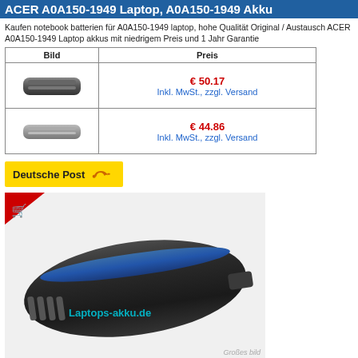ACER A0A150-1949 Laptop, A0A150-1949 Akku
Kaufen notebook batterien für A0A150-1949 laptop, hohe Qualität Original / Austausch ACER A0A150-1949 Laptop akkus mit niedrigem Preis und 1 Jahr Garantie
| Bild | Preis |
| --- | --- |
| [battery image] | € 50.17
Inkl. MwSt., zzgl. Versand |
| [battery image] | € 44.86
Inkl. MwSt., zzgl. Versand |
[Figure (logo): Deutsche Post yellow banner with post horn logo]
[Figure (photo): Large product photo of a black Acer laptop battery with blue label stripe, watermarked with Laptops-akku.de and a shopping cart icon in the top left corner. Großes bild text at bottom right.]